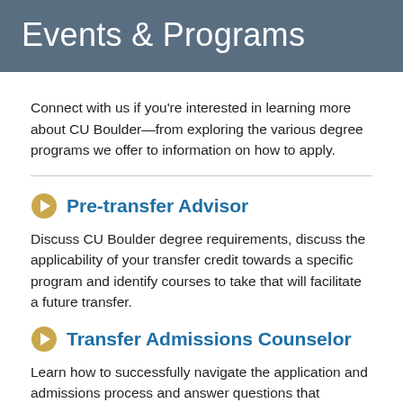Events & Programs
Connect with us if you're interested in learning more about CU Boulder—from exploring the various degree programs we offer to information on how to apply.
Pre-transfer Advisor
Discuss CU Boulder degree requirements, discuss the applicability of your transfer credit towards a specific program and identify courses to take that will facilitate a future transfer.
Transfer Admissions Counselor
Learn how to successfully navigate the application and admissions process and answer questions that